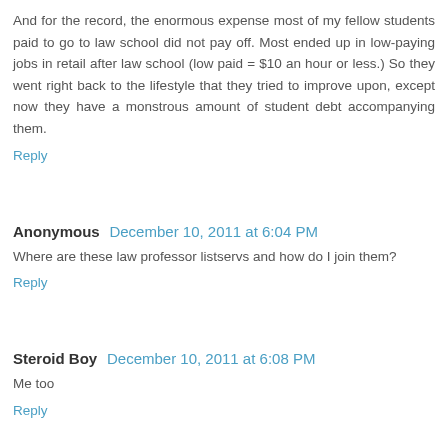And for the record, the enormous expense most of my fellow students paid to go to law school did not pay off. Most ended up in low-paying jobs in retail after law school (low paid = $10 an hour or less.) So they went right back to the lifestyle that they tried to improve upon, except now they have a monstrous amount of student debt accompanying them.
Reply
Anonymous  December 10, 2011 at 6:04 PM
Where are these law professor listservs and how do I join them?
Reply
Steroid Boy  December 10, 2011 at 6:08 PM
Me too
Reply